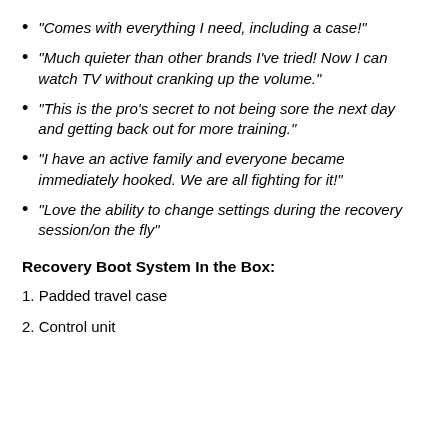"Comes with everything I need, including a case!"
"Much quieter than other brands I've tried!  Now I can watch TV without cranking up the volume."
"This is the pro's secret to not being sore the next day and getting back out for more training."
"I have an active family and everyone became immediately hooked.  We are all fighting for it!"
"Love the ability to change settings during the recovery session/on the fly"
Recovery Boot System In the Box:
1. Padded travel case
2. Control unit